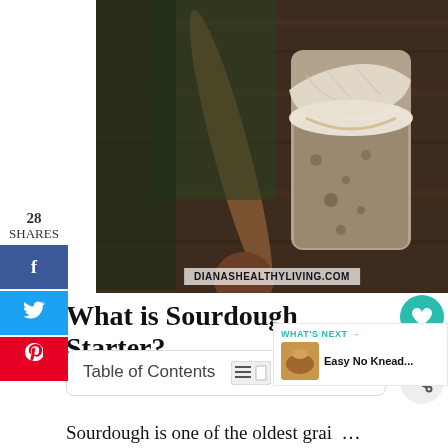[Figure (photo): A glass jar of sourdough starter covered with cheesecloth, with a wooden spoon leaning against it, on a rustic wooden surface. Watermark: DIANASHEALTHYLIVING.COM]
What is Sourdough Starter?
| Table of Contents |
| --- |
Sourdough is one of the oldest grain fermentation processes. A sourdough starter